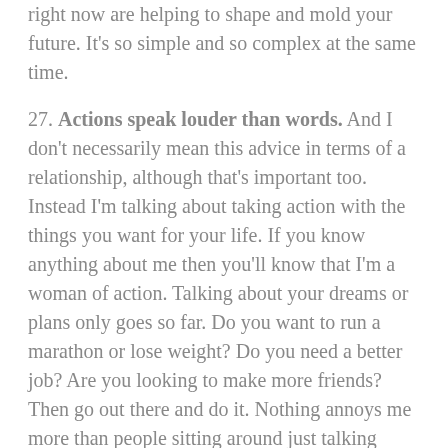right now are helping to shape and mold your future. It's so simple and so complex at the same time.
27. Actions speak louder than words. And I don't necessarily mean this advice in terms of a relationship, although that's important too. Instead I'm talking about taking action with the things you want for your life. If you know anything about me then you'll know that I'm a woman of action. Talking about your dreams or plans only goes so far. Do you want to run a marathon or lose weight? Do you need a better job? Are you looking to make more friends? Then go out there and do it. Nothing annoys me more than people sitting around just talking about stuff they want to accomplish or do. ACTION MEANS EVERYTHING.
28. Everything gets better when you stop caring